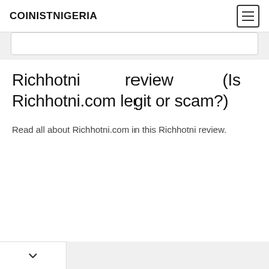COINISTNIGERIA
Richhotni review (Is Richhotni.com legit or scam?)
Read all about Richhotni.com in this Richhotni review.